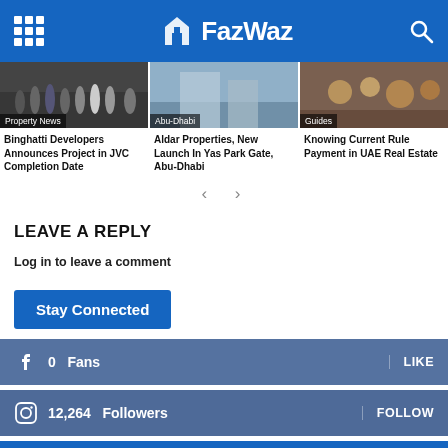FazWaz
[Figure (photo): News card image: Property News - group of people in formal wear]
Property News
Binghatti Developers Announces Project in JVC Completion Date
[Figure (photo): News card image: Abu-Dhabi - architectural/city image]
Abu-Dhabi
Aldar Properties, New Launch In Yas Park Gate, Abu-Dhabi
[Figure (photo): News card image: Guides - jewelry/ornaments]
Guides
Knowing Current Rule Payment in UAE Real Estate
LEAVE A REPLY
Log in to leave a comment
Stay Connected
0  Fans  LIKE
12,264  Followers  FOLLOW